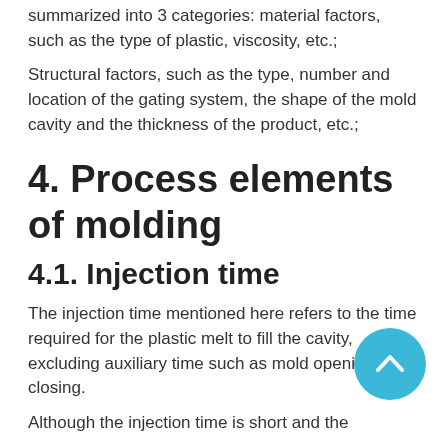summarized into 3 categories: material factors, such as the type of plastic, viscosity, etc.;
Structural factors, such as the type, number and location of the gating system, the shape of the mold cavity and the thickness of the product, etc.;
4. Process elements of molding
4.1. Injection time
The injection time mentioned here refers to the time required for the plastic melt to fill the cavity, excluding auxiliary time such as mold opening and closing.
Although the injection time is short and the